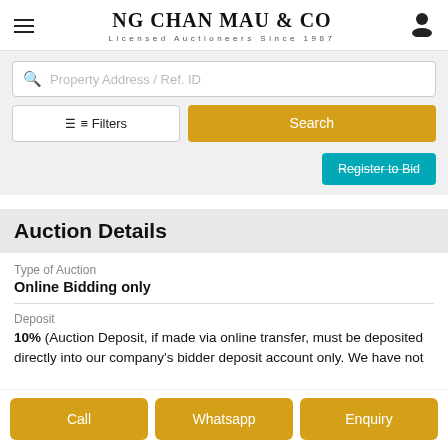NG CHAN MAU & CO — Licensed Auctioneers Since 1987
Property Address / Ref. ID
Filters
Search
Register to Bid
Auction Details
Type of Auction
Online Bidding only
Deposit
10% (Auction Deposit, if made via online transfer, must be deposited directly into our company's bidder deposit account only. We have not
Call
Whatsapp
Enquiry